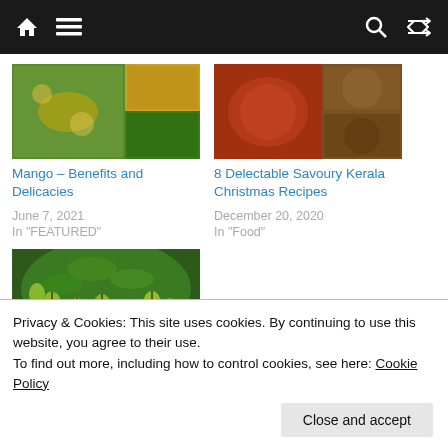Navigation bar with home, menu, search, and shuffle icons
[Figure (photo): Collage of mango and food images]
Mango – Benefits and Delicacies
June 7, 2021
In "FEATURED"
[Figure (photo): Collage of Kerala Christmas food images]
8 Delectable Savoury Kerala Christmas Recipes
December 20, 2020
In "Food"
[Figure (photo): Green mangoes hanging on a mango tree]
Privacy & Cookies: This site uses cookies. By continuing to use this website, you agree to their use.
To find out more, including how to control cookies, see here: Cookie Policy
Close and accept